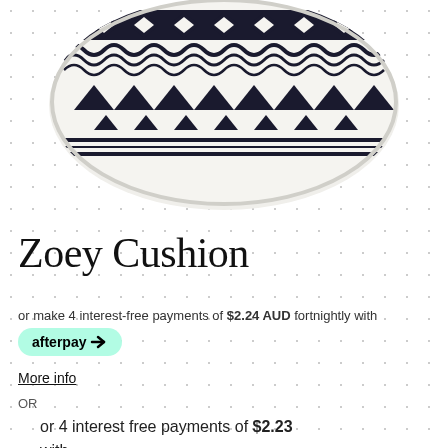[Figure (photo): A decorative cushion with black and white geometric/Aztec pattern design, photographed against a white background with a subtle dot grid pattern.]
Zoey Cushion
or make 4 interest-free payments of $2.24 AUD fortnightly with
[Figure (logo): Afterpay logo badge - mint green rounded rectangle with 'afterpay' text and arrow icon]
More info
OR
or 4 interest free payments of $2.23 with